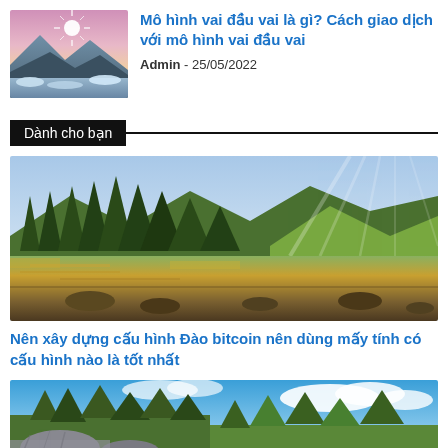[Figure (photo): Thumbnail image of mountain landscape with icy lake and glowing star/sun]
Mô hình vai đầu vai là gì? Cách giao dịch với mô hình vai đầu vai
Admin - 25/05/2022
Dành cho bạn
[Figure (photo): Wide landscape photo of alpine forest with lake reflection, sunbeams, and mountains]
Nên xây dựng cấu hình Đào bitcoin nên dùng mấy tính có cấu hình nào là tốt nhất
[Figure (photo): Tropical landscape with rocks, green trees and blue sky with clouds]